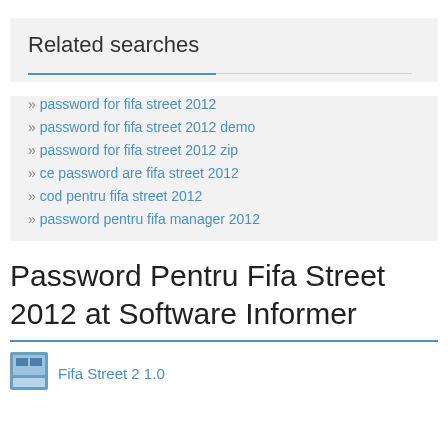Related searches
» password for fifa street 2012
» password for fifa street 2012 demo
» password for fifa street 2012 zip
» ce password are fifa street 2012
» cod pentru fifa street 2012
» password pentru fifa manager 2012
Password Pentru Fifa Street 2012 at Software Informer
[Figure (screenshot): Small thumbnail icon for Fifa Street 2 1.0 application]